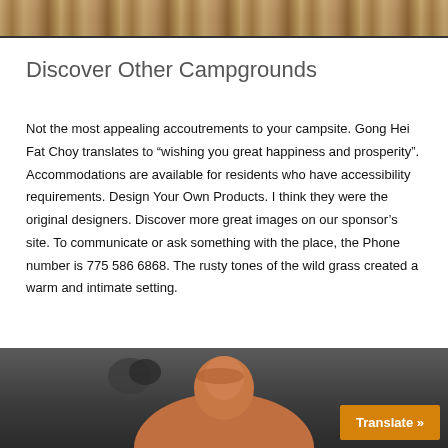[Figure (photo): Top portion of an outdoor photo showing rocky/gravelly terrain with warm brown tones]
Discover Other Campgrounds
Not the most appealing accoutrements to your campsite. Gong Hei Fat Choy translates to “wishing you great happiness and prosperity”. Accommodations are available for residents who have accessibility requirements. Design Your Own Products. I think they were the original designers. Discover more great images on our sponsor’s site. To communicate or ask something with the place, the Phone number is 775 586 6868. The rusty tones of the wild grass created a warm and intimate setting.
[Figure (photo): Bottom portion of a photo showing a person with reddish-brown hair against a dark background, with an orange Translate button overlay]